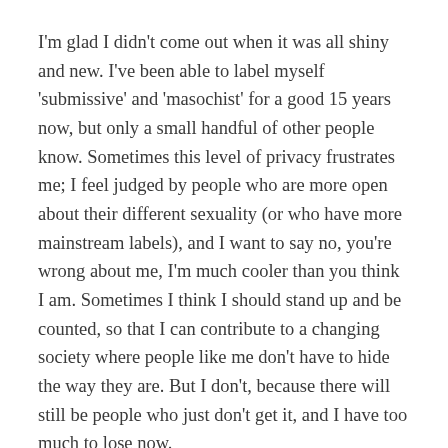I'm glad I didn't come out when it was all shiny and new. I've been able to label myself 'submissive' and 'masochist' for a good 15 years now, but only a small handful of other people know. Sometimes this level of privacy frustrates me; I feel judged by people who are more open about their different sexuality (or who have more mainstream labels), and I want to say no, you're wrong about me, I'm much cooler than you think I am. Sometimes I think I should stand up and be counted, so that I can contribute to a changing society where people like me don't have to hide the way they are. But I don't, because there will still be people who just don't get it, and I have too much to lose now.
And I'm glad I didn't hang a label out at any point in the last few years, because that's given me room to evolve. My circumstances have changed and even now, more settled than ever, I still find myself torn in new ways.